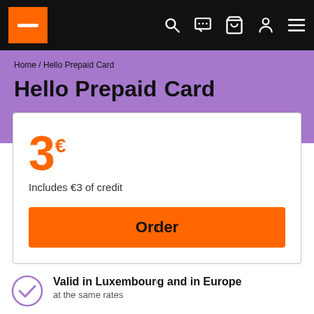Orange — navigation bar with logo, search, chat, basket, account, menu icons
Home / Hello Prepaid Card
Hello Prepaid Card
3€
Includes €3 of credit
Order
Valid in Luxembourg and in Europe
at the same rates
Bonus Mobile Internet in Europe
offered each time you reload